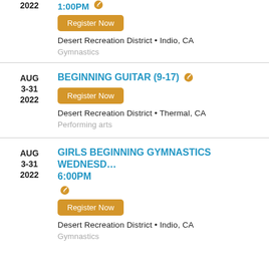1:00PM
2022
Register Now
Desert Recreation District • Indio, CA
Gymnastics
BEGINNING GUITAR (9-17)
AUG 3-31 2022
Register Now
Desert Recreation District • Thermal, CA
Performing arts
GIRLS BEGINNING GYMNASTICS WEDNESDAY 6:00PM
AUG 3-31 2022
Register Now
Desert Recreation District • Indio, CA
Gymnastics